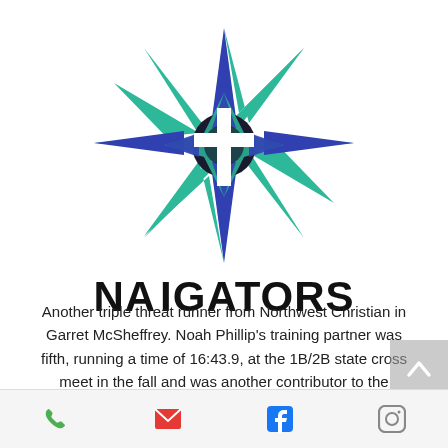[Figure (logo): Navigators logo: an 8-pointed star in blue and teal colors with a white Christian cross in the center, with shadow effect]
NAVIGATORS
Another triple threat runner from Northwest Christian in Garret McSheffrey. Noah Phillip’s training partner was fifth, running a time of 16:43.9, at the 1B/2B state cross meet in the fall and was another contributor to the Navigators fifth consecutive state team title. McSheffrey
Phone | Email | Facebook | Instagram